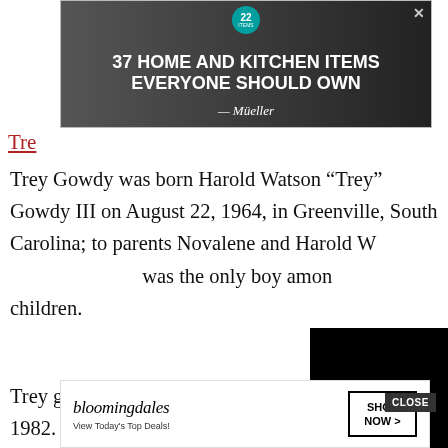[Figure (screenshot): Advertisement banner: '37 HOME AND KITCHEN ITEMS EVERYONE SHOULD OWN' with Mueller branding and teal badge showing '22']
Tre
Trey Gowdy was born Harold Watson “Trey” Gowdy III on August 22, 1964, in Greenville, South Carolina; to parents Novalene and Harold W[...] was the only boy amon[g their] children.
[Figure (screenshot): Black rectangle video overlay covering part of the text]
Trey graduated from Spartanburg High School in 1982. Baylor University i[n 198]6 with[...] sity of [...]
[Figure (screenshot): Bloomingdale's advertisement: 'View Today’s Top Deals!' with 'SHOP NOW >' button]
CLOSE